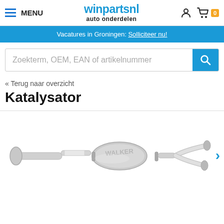MENU | winpartsnl auto onderdelen
Vacatures in Groningen: Solliciteer nu!
Zoekterm, OEM, EAN of artikelnummer
« Terug naar overzicht
Katalysator
[Figure (photo): Product photo of a WALKER katalysator (catalytic converter) exhaust component, silver metallic, shown horizontally with pipes on both ends]